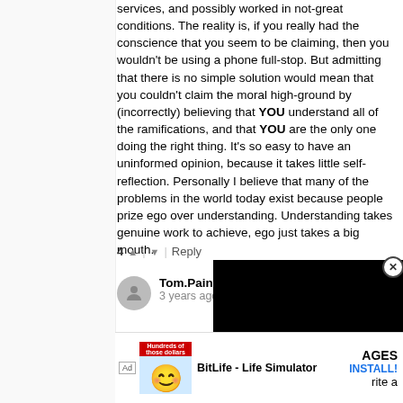services, and possibly worked in not-great conditions. The reality is, if you really had the conscience that you seem to be claiming, then you wouldn't be using a phone full-stop. But admitting that there is no simple solution would mean that you couldn't claim the moral high-ground by (incorrectly) believing that YOU understand all of the ramifications, and that YOU are the only one doing the right thing. It's so easy to have an uninformed opinion, because it takes little self-reflection. Personally I believe that many of the problems in the world today exist because people prize ego over understanding. Understanding takes genuine work to achieve, ego just takes a big mouth.
4 ^ | v Reply
Tom.Paine → solitarios... 3 years ago
You can't accuse China of b... see the irony surely? The U... to do) all of the above (as does the U.K., Israel etc. etc). C... AGES F... rite a
[Figure (screenshot): Black video player overlay in bottom-right area of page]
[Figure (infographic): Ad banner for BitLife - Life Simulator app with smiley face emoji icon, red tagline text, and INSTALL button]